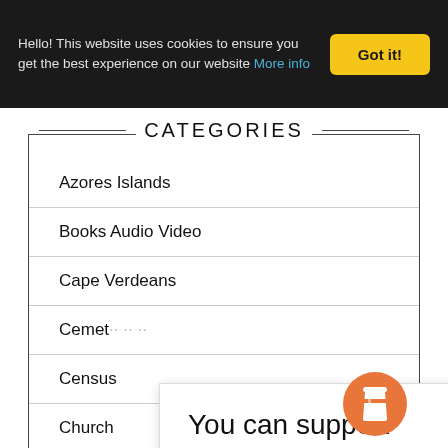Hello! This website uses cookies to ensure you get the best experience on our website More info
CATEGORIES
Azores Islands
Books Audio Video
Cape Verdeans
Cemet...
Census
Church
Diseas
You can support YourIslandRoutes.com by buying us a cup of hot cocoa